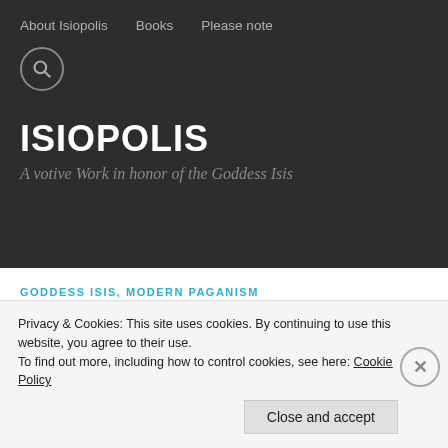About Isiopolis   Books   Please note
ISIOPOLIS
A votive Work in honor of the Goddess Isis
GODDESS ISIS, MODERN PAGANISM
My Epagomenal Days; Isis & the Winter Solstice
Privacy & Cookies: This site uses cookies. By continuing to use this website, you agree to their use.
To find out more, including how to control cookies, see here: Cookie Policy
Close and accept